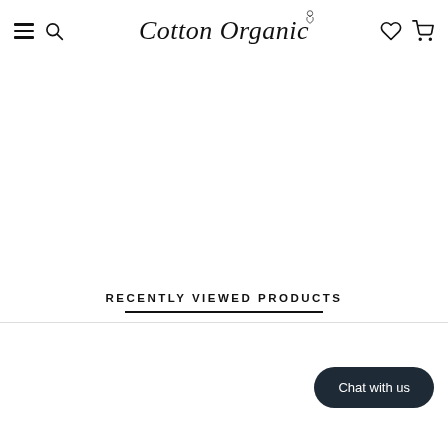Cotton Organic
RECENTLY VIEWED PRODUCTS
Chat with us